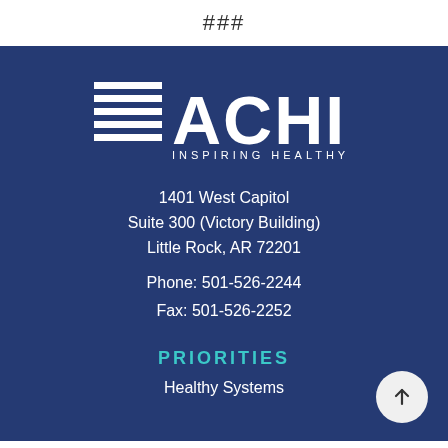###
[Figure (logo): ACHI logo with horizontal lines and text INSPIRING HEALTHY ACTS]
1401 West Capitol
Suite 300 (Victory Building)
Little Rock, AR 72201
Phone: 501-526-2244
Fax: 501-526-2252
PRIORITIES
Healthy Systems